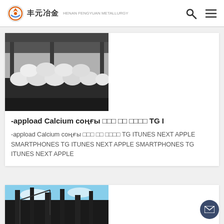丰元冶金
[Figure (photo): Industrial warehouse with large white bags/sacks stacked on dark pallets inside a facility]
-appload Calcium соңғы □□□ □□ □□□□ TG I
-appload Calcium соңғы □□□ □□ □□□□ TG ITUNES NEXT APPLE SMARTPHONES TG ITUNES NEXT APPLE SMARTPHONES TG ITUNES NEXT APPLE
[Figure (photo): Industrial facility with tall chimneys/smokestacks against a blue sky]